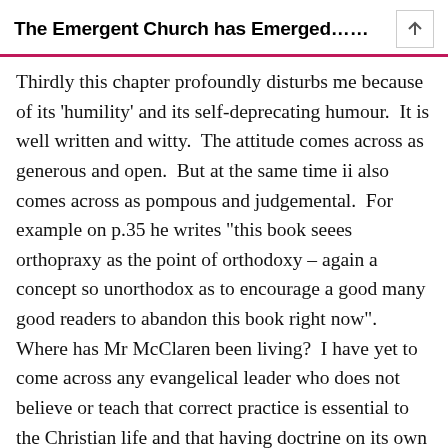The Emergent Church has Emerged......
Thirdly this chapter profoundly disturbs me because of its ‘humility’ and its self-deprecating humour.  It is well written and witty.  The attitude comes across as generous and open.  But at the same time ii also comes across as pompous and judgemental.  For example on p.35 he writes “this book seees orthopraxy as the point of orthodoxy – again a concept so unorthodox as to encourage a good many good readers to abandon this book right now”.  Where has Mr McClaren been living?  I have yet to come across any evangelical leader who does not believe or teach that correct practice is essential to the Christian life and that having doctrine on its own is pointless.  So why does McClaren state this?  It is a